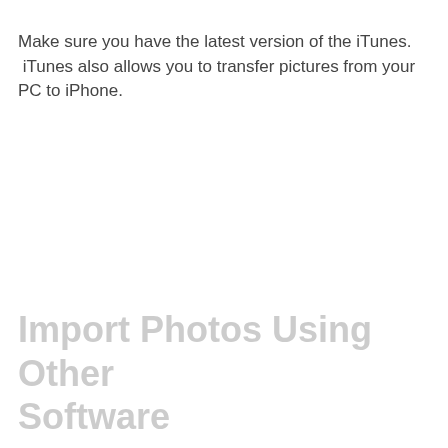Make sure you have the latest version of the iTunes. iTunes also allows you to transfer pictures from your PC to iPhone.
Import Photos Using Other Software